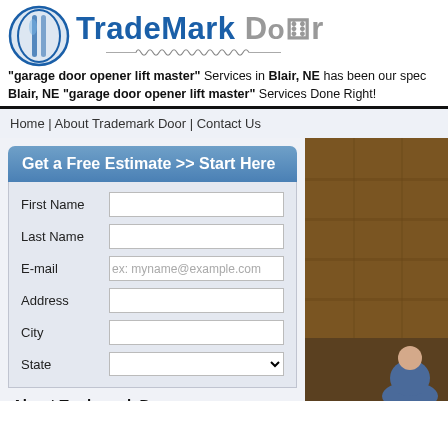[Figure (logo): TradeMark Door logo with blue circular icon and blue/gray text, with spring graphic below]
"garage door opener lift master" Services in Blair, NE has been our spec Blair, NE "garage door opener lift master" Services Done Right!
Home | About Trademark Door | Contact Us
Get a Free Estimate >> Start Here
First Name
Last Name
E-mail
Address
City
State
About Trademark Door
Trademark Door can show you how to choose a garage door and what to look for in a garage door and operator when it comes to your search for garage door opener lift master in Blair, NE. Trademark Door includes many extras in the standard garage door when it comes to your
[Figure (photo): Photo of a brown garage door with a person partially visible at bottom right]